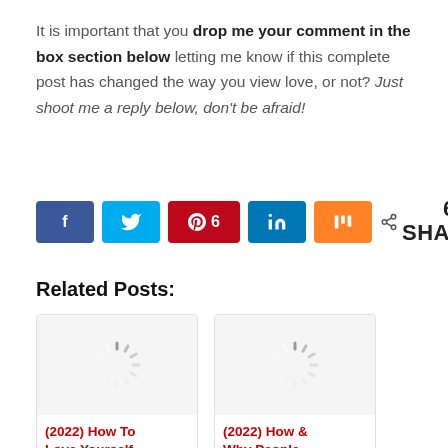It is important that you drop me your comment in the box section below letting me know if this complete post has changed the way you view love, or not? Just shoot me a reply below, don't be afraid!
[Figure (infographic): Social share buttons row: Facebook, Twitter, Pinterest (6), LinkedIn, Mix, and a share count showing 6 SHARES]
Related Posts:
[Figure (infographic): Two related post cards with loading spinner images. Card 1 title: (2022) How To Love Yourself. Card 2 title: (2022) How & Why People]
(2022) How To Love Yourself
(2022) How & Why People